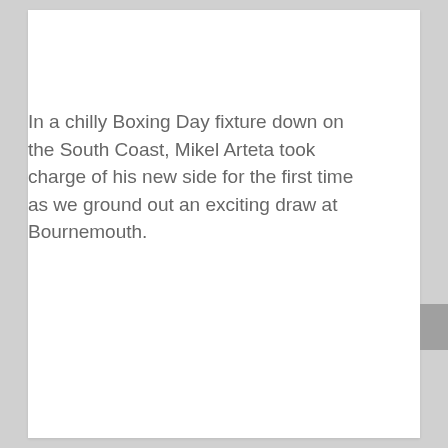In a chilly Boxing Day fixture down on the South Coast, Mikel Arteta took charge of his new side for the first time as we ground out an exciting draw at Bournemouth.